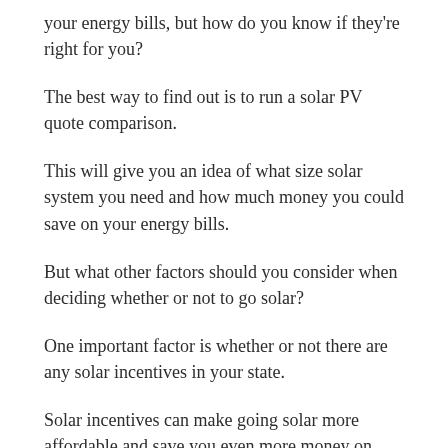your energy bills, but how do you know if they're right for you?
The best way to find out is to run a solar PV quote comparison.
This will give you an idea of what size solar system you need and how much money you could save on your energy bills.
But what other factors should you consider when deciding whether or not to go solar?
One important factor is whether or not there are any solar incentives in your state.
Solar incentives can make going solar more affordable and save you even more money on your energy bills.